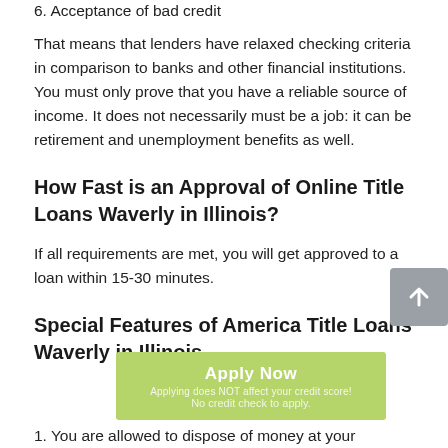6. Acceptance of bad credit
That means that lenders have relaxed checking criteria in comparison to banks and other financial institutions. You must only prove that you have a reliable source of income. It does not necessarily must be a job: it can be retirement and unemployment benefits as well.
How Fast is an Approval of Online Title Loans Waverly in Illinois?
If all requirements are met, you will get approved to a loan within 15-30 minutes.
Special Features of America Title Loans Waverly in Illinois
1. You are allowed to dispose of money at your discretion.
Lenders give you freedom in your actions within the framework of current US legislation. The funds received